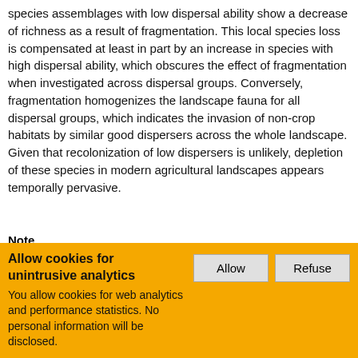species assemblages with low dispersal ability show a decrease of richness as a result of fragmentation. This local species loss is compensated at least in part by an increase in species with high dispersal ability, which obscures the effect of fragmentation when investigated across dispersal groups. Conversely, fragmentation homogenizes the landscape fauna for all dispersal groups, which indicates the invasion of non-crop habitats by similar good dispersers across the whole landscape. Given that recolonization of low dispersers is unlikely, depletion of these species in modern agricultural landscapes appears temporally pervasive.
Note
Hendrickx, Frederik Maelfait, Jean-Pierre Desender, Konjev Aviron, Stephanie Bailey, Debra Diekotter, Tim Lens, Luc Liira, Jaan Schweiger, Oliver Speelmans, Marian Vandomme, Viki Bugter, Rob
Allow cookies for unintrusive analytics
You allow cookies for web analytics and performance statistics. No personal information will be disclosed.